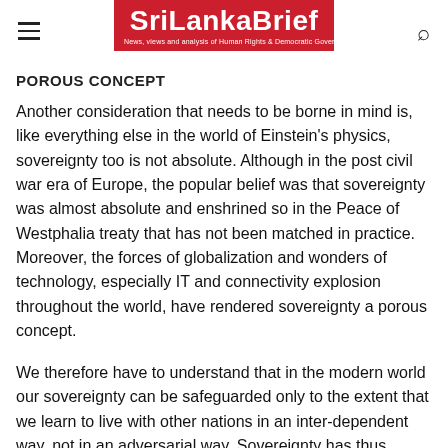SriLankaBrief — News, views and analysis of Human Rights & Democratic Governance in Sri Lanka
POROUS CONCEPT
Another consideration that needs to be borne in mind is, like everything else in the world of Einstein's physics, sovereignty too is not absolute. Although in the post civil war era of Europe, the popular belief was that sovereignty was almost absolute and enshrined so in the Peace of Westphalia treaty that has not been matched in practice. Moreover, the forces of globalization and wonders of technology, especially IT and connectivity explosion throughout the world, have rendered sovereignty a porous concept.
We therefore have to understand that in the modern world our sovereignty can be safeguarded only to the extent that we learn to live with other nations in an inter-dependent way, not in an adversarial way. Sovereignty has thus become a truly relative notion.